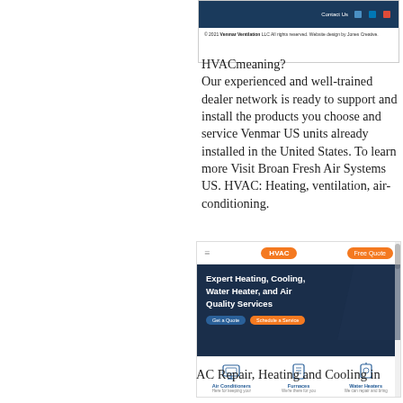[Figure (screenshot): Screenshot of a website footer bar with dark navy navigation and copyright text for Venmar Ventilation LLC]
HVACmeaning?
Our experienced and well-trained dealer network is ready to support and install the products you choose and service Venmar US units already installed in the United States. To learn more Visit Broan Fresh Air Systems US. HVAC: Heating, ventilation, air-conditioning.
[Figure (screenshot): Screenshot of an HVAC company website showing orange HVAC logo, navigation bar, hero section with 'Expert Heating, Cooling, Water Heater, and Air Quality Services' text and call-to-action buttons, and service icons for Air Conditioners, Furnaces, and Water Heaters]
AC Repair, Heating and Cooling in